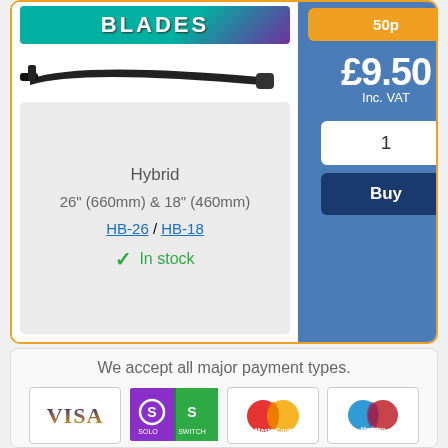[Figure (photo): Wiper blade product images including brand logo and wiper blade photo]
Hybrid
26" (660mm) & 18" (460mm)
HB-26 / HB-18
In stock
50p
£9.50
Inc. VAT
1
Buy
We accept all major payment types.
[Figure (logo): VISA payment logo]
[Figure (logo): Solo/Switch payment logo]
[Figure (logo): MasterCard payment logo]
[Figure (logo): Maestro payment logo]
[Figure (logo): American Express payment logo]
[Figure (logo): PayPal payment logo]